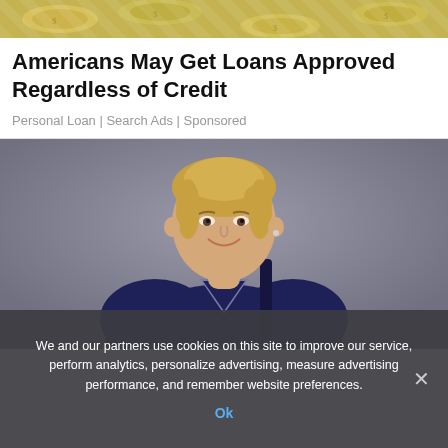[Figure (photo): Banner image showing scattered US dollar bills]
Americans May Get Loans Approved Regardless of Credit
Personal Loan | Search Ads | Sponsored
[Figure (photo): A smiling young woman with blonde hair pulled back, wearing a dark navy blue v-neck top, photographed against a grey background]
We and our partners use cookies on this site to improve our service, perform analytics, personalize advertising, measure advertising performance, and remember website preferences.
Ok